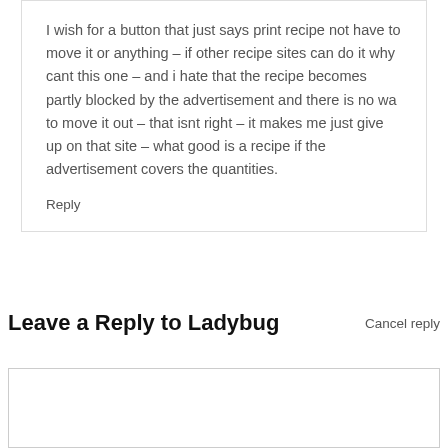I wish for a button that just says print recipe not have to move it or anything – if other recipe sites can do it why cant this one – and i hate that the recipe becomes partly blocked by the advertisement and there is no wa to move it out – that isnt right – it makes me just give up on that site – what good is a recipe if the advertisement covers the quantities.
Reply
Leave a Reply to Ladybug
Cancel reply